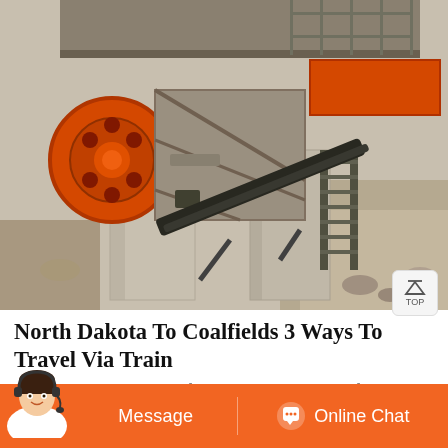[Figure (photo): Industrial mining or crushing machinery with orange flywheel mechanism, conveyor belt, concrete supports, and metal structures photographed from above outdoors.]
North Dakota To Coalfields 3 Ways To Travel Via Train
Rome2rio makes travelling from North Dakota to Coalfields easy. Rome2rio is a door-to-door travel information and booking engine, helping you get to and from any location in the world. Find all the transport options for your trip from North Dakota to Coalfields right